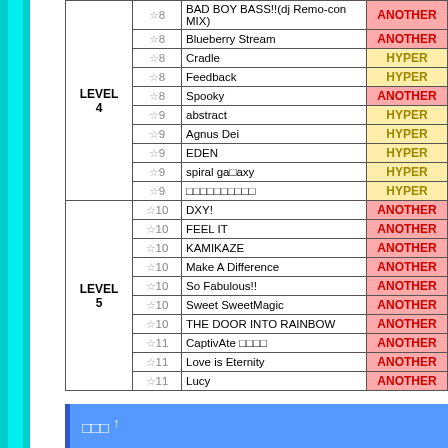| Level | Stars | Song | Difficulty |
| --- | --- | --- | --- |
| LEVEL 4 | ☆8 | BAD BOY BASS!!(dj Remo-con MIX) | ANOTHER |
|  | ☆8 | Blueberry Stream | ANOTHER |
|  | ☆8 | Cradle | HYPER |
|  | ☆8 | Feedback | HYPER |
|  | ☆8 | Spooky | ANOTHER |
|  | ☆9 | abstract | HYPER |
|  | ☆9 | Agnus Dei | HYPER |
|  | ☆9 | EDEN | HYPER |
|  | ☆9 | spiral galaxy | HYPER |
|  | ☆9 | □□□□□□□□□□ | HYPER |
| LEVEL 5 | ☆10 | DXY! | ANOTHER |
|  | ☆10 | FEEL IT | ANOTHER |
|  | ☆10 | KAMIKAZE | ANOTHER |
|  | ☆10 | Make A Difference | ANOTHER |
|  | ☆10 | So Fabulous!! | ANOTHER |
|  | ☆10 | Sweet SweetMagic | ANOTHER |
|  | ☆10 | THE DOOR INTO RAINBOW | ANOTHER |
|  | ☆11 | CaptivAte □□□□ | ANOTHER |
|  | ☆11 | Love is Eternity | ANOTHER |
|  | ☆11 | Lucy | ANOTHER |
□□□ ↑